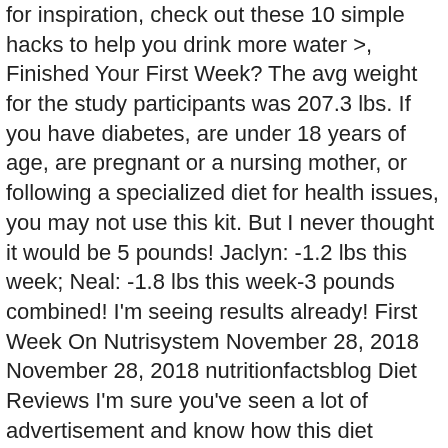for inspiration, check out these 10 simple hacks to help you drink more water >, Finished Your First Week? The avg weight for the study participants was 207.3 lbs. If you have diabetes, are under 18 years of age, are pregnant or a nursing mother, or following a specialized diet for health issues, you may not use this kit. But I never thought it would be 5 pounds! Jaclyn: -1.2 lbs this week; Neal: -1.8 lbs this week-3 pounds combined! I'm seeing results already! First Week On Nutrisystem November 28, 2018 November 28, 2018 nutritionfactsblog Diet Reviews I'm sure you've seen a lot of advertisement and know how this diet program works, but have you taken the time to find out what would your day be like using their products? Browse Nutrisystem before and after weight loss photos, recipe pictures and more. After you've finished your first week, you will start adding in what we call SmartCarbs, PowerFuels and Extras. Again, I bought a five day kit from my local Walmart. Not a bad start at all! Foods such as brown rice, berries, beans and starchy veggies like peas and sweet potatoes are lower on the glycemic